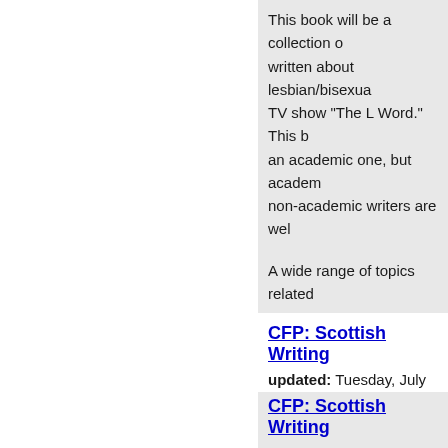This book will be a collection of essays written about lesbian/bisexual characters in the TV show "The L Word." This book will be an academic one, but academic as well as non-academic writers are wel
A wide range of topics related
CFP: Scottish Writing
updated: Tuesday, July 20, 2
Berthold Schoene
SCOTTISH WRITING IN THE TW
Essays on Post-Devolution Re
CFP: Scottish Writing